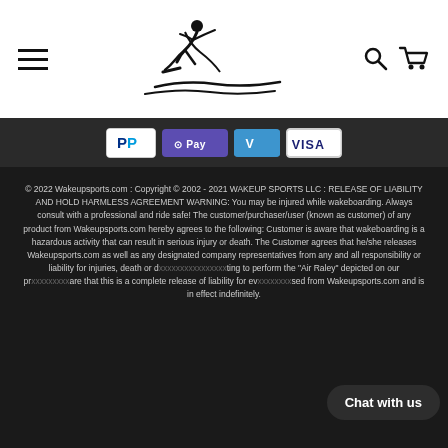[Figure (logo): Wakeupsports.com logo — silhouette of wakeboarder performing a trick above stylized water lines]
[Figure (infographic): Payment method badges: PayPal, Apple Pay (OPay style), Venmo, Visa]
© 2022 Wakeupsports.com : Copyright © 2002 - 2021 WAKEUP SPORTS LLC : RELEASE OF LIABILITY AND HOLD HARMLESS AGREEMENT WARNING: You may be injured while wakeboarding. Always consult with a professional and ride safe! The customer/purchaser/user (known as customer) of any product from Wakeupsports.com hereby agrees to the following: Customer is aware that wakeboarding is a hazardous activity that can result in serious injury or death. The Customer agrees that he/she releases Wakeupsports.com as well as any designated company representatives from any and all responsibility or liability for injuries, death or d[...] ting to perform the "Air Raley" depicted on our pr[...] are that this is a complete release of liability for ev[...] sed from Wakeupsports.com and is in effect indefinitely.
Chat with us